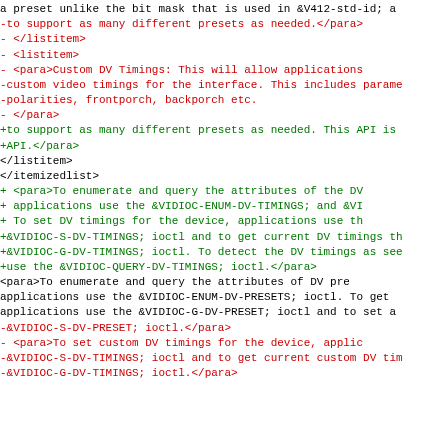Code diff showing changes to XML documentation for DV timings and presets API, including additions (green/+) and removals (red/-) of XML tags and descriptive text about custom DV timings, enumeration ioctls, and preset/timing query functions.